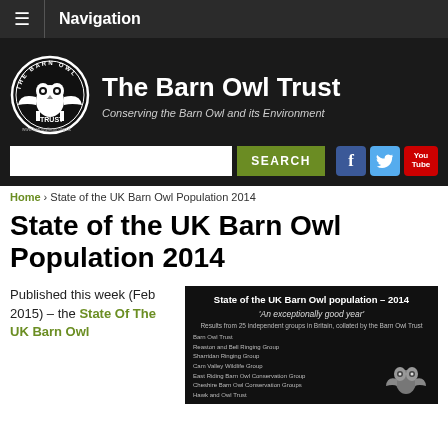≡  Navigation
[Figure (logo): The Barn Owl Trust logo banner with circular owl logo on left, title 'The Barn Owl Trust' and subtitle 'Conserving the Barn Owl and its Environment' on dark background, with search bar, search button, Facebook, Twitter, and YouTube icons]
Home › State of the UK Barn Owl Population 2014
State of the UK Barn Owl Population 2014
Published this week (Feb 2015) – the State Of The UK Barn Owl
[Figure (screenshot): Dark slide image: 'State of the UK Barn Owl population – 2014. An exceptionally good year. Results from 25 independent groups in Britain, collated by the Barn Owl Trust.' followed by a list of contributing groups and a barn owl image.]